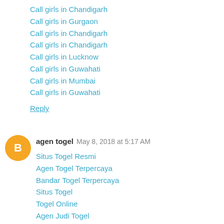Call girls in Chandigarh
Call girls in Gurgaon
Call girls in Chandigarh
Call girls in Chandigarh
Call girls in Lucknow
Call girls in Guwahati
Call girls in Mumbai
Call girls in Guwahati
Reply
agen togel  May 8, 2018 at 5:17 AM
Situs Togel Resmi
Agen Togel Terpercaya
Bandar Togel Terpercaya
Situs Togel
Togel Online
Agen Judi Togel
Bandar Judi Togel
Situs Togel Online
Agen Togel Online
Agen Judi Online